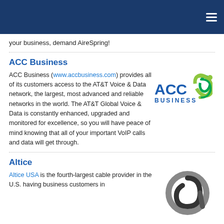your business, demand AireSpring!
ACC Business
ACC Business (www.accbusiness.com) provides all of its customers access to the AT&T Voice & Data network, the largest, most advanced and reliable networks in the world. The AT&T Global Voice & Data is constantly enhanced, upgraded and monitored for excellence, so you will have peace of mind knowing that all of your important VoIP calls and data will get through.
[Figure (logo): ACC Business logo with blue text and green swirl graphic]
Altice
Altice USA is the fourth-largest cable provider in the U.S. having business customers in
[Figure (logo): Altice logo - grey and black circular letter A]